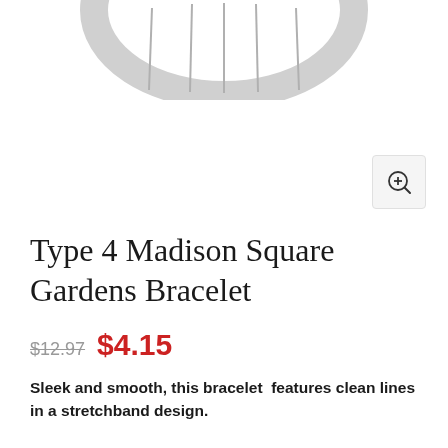[Figure (photo): Partial view of a white stretchband bracelet with clean lines, cropped at the top of the page]
[Figure (other): Zoom/magnify button icon in a rounded square, positioned at bottom-right of product image]
Type 4 Madison Square Gardens Bracelet
$12.97 $4.15
Sleek and smooth, this bracelet  features clean lines in a stretchband design.